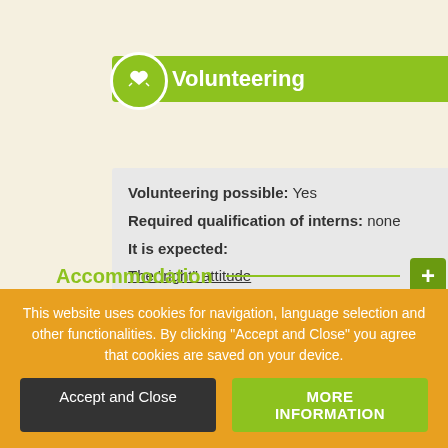Volunteering
Volunteering possible: Yes
Required qualification of interns: none
It is expected:
The "right" attitude
Accommodation
Rates
Getting There
This website uses cookies for navigation, language selection and other functionalities. By clicking "Accept and Close" you agree that cookies are saved on your device.
Accept and Close
MORE INFORMATION